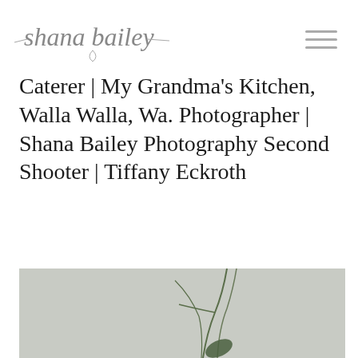[Figure (logo): Shana Bailey script logo with decorative lines on left and right]
Caterer | My Grandma’s Kitchen, Walla Walla, Wa.
Photographer | Shana Bailey Photography
Second Shooter | Tiffany Eckroth
[Figure (photo): Botanical/floral photo with green stem and leaf on grey background, partially visible at bottom of page]